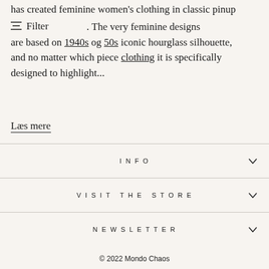has created feminine women's clothing in classic pinup
Filter . The very feminine designs are based on 1940s og 50s iconic hourglass silhouette, and no matter which piece clothing it is specifically designed to highlight...
Læs mere
INFO
VISIT THE STORE
NEWSLETTER
© 2022 Mondo Chaos